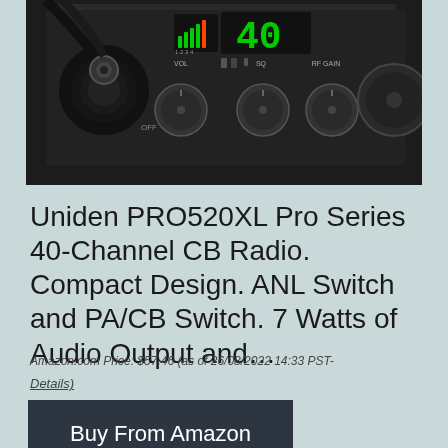[Figure (photo): CB radio device (Uniden PRO520XL) showing front panel with volume, squelch, RF gain knobs, channel display showing channel 40, and a coiled cable/connector on the left side.]
Uniden PRO520XL Pro Series 40-Channel CB Radio. Compact Design. ANL Switch and PA/CB Switch. 7 Watts of Audio Output and…
Amazon.com Price: $57.46 (as of 26/08/2022 14:33 PST-
Details)
Buy From Amazon